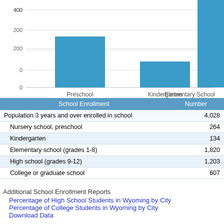[Figure (bar-chart): School Enrollment by Level]
| School Enrollment | Number |
| --- | --- |
| Population 3 years and over enrolled in school | 4,028 |
| Nursery school, preschool | 264 |
| Kindergarten | 134 |
| Elementary school (grades 1-8) | 1,820 |
| High school (grades 9-12) | 1,203 |
| College or graduate school | 607 |
Additional School Enrollment Reports
Percentage of High School Students in Wyoming by City
Percentage of College Students in Wyoming by City
Download Data
Green River Education Level
[Figure (bar-chart): Green River Education Level]